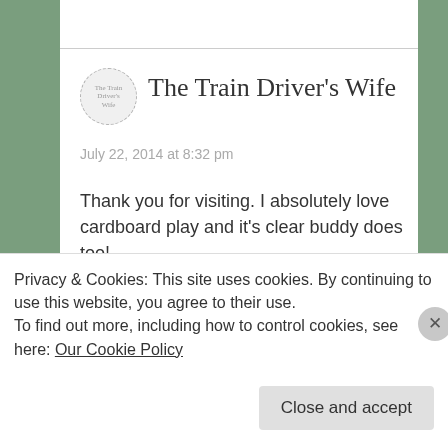[Figure (illustration): Circular avatar with dashed border showing 'The Train Driver's Wife' logo text]
The Train Driver's Wife
July 22, 2014 at 8:32 pm
Thank you for visiting. I absolutely love cardboard play and it's clear buddy does too!
★ Like
Reply
Privacy & Cookies: This site uses cookies. By continuing to use this website, you agree to their use.
To find out more, including how to control cookies, see here: Our Cookie Policy
Close and accept